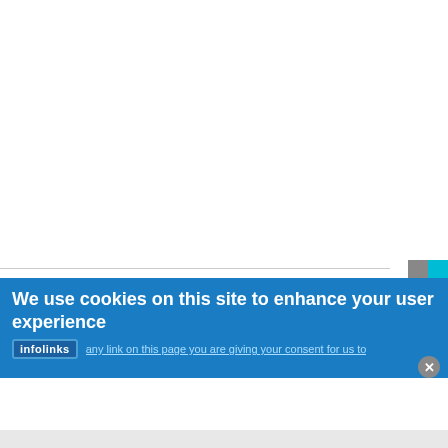[Figure (screenshot): White blank area at the top of the page, representing empty web page content area]
We use cookies on this site to enhance your user experience
infolinks   any link on this page you are giving your consent for us to